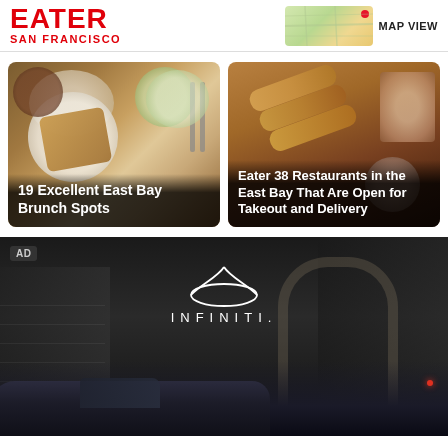EATER SAN FRANCISCO
MAP VIEW
[Figure (photo): Food photo: brunch plates with French toast, salad, and coffee viewed from above on wooden table]
19 Excellent East Bay Brunch Spots
[Figure (photo): Food photo: spring rolls or egg rolls with a dipping sauce bowl on dark background]
Eater 38 Restaurants in the East Bay That Are Open for Takeout and Delivery
[Figure (photo): Infiniti advertisement showing dark scene with an Infiniti car parked in front of a building with an arch, with Infiniti logo and wordmark overlaid]